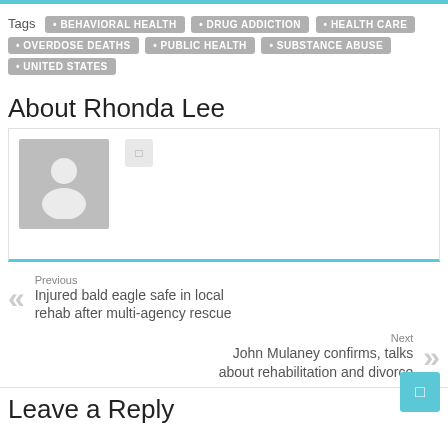Tags: BEHAVIORAL HEALTH • DRUG ADDICTION • HEALTH CARE • OVERDOSE DEATHS • PUBLIC HEALTH • SUBSTANCE ABUSE • UNITED STATES
About Rhonda Lee
[Figure (photo): Default user avatar placeholder image (grey silhouette) with a small social media icon button beside it]
Previous
Injured bald eagle safe in local rehab after multi-agency rescue
Next
John Mulaney confirms, talks about rehabilitation and divorce
Leave a Reply